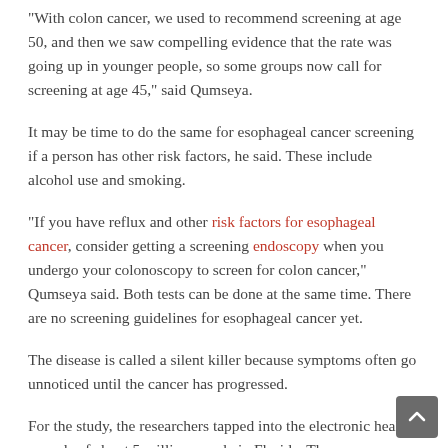"With colon cancer, we used to recommend screening at age 50, and then we saw compelling evidence that the rate was going up in younger people, so some groups now call for screening at age 45," said Qumseya.
It may be time to do the same for esophageal cancer screening if a person has other risk factors, he said. These include alcohol use and smoking.
"If you have reflux and other risk factors for esophageal cancer, consider getting a screening endoscopy when you undergo your colonoscopy to screen for colon cancer," Qumseya said. Both tests can be done at the same time. There are no screening guidelines for esophageal cancer yet.
The disease is called a silent killer because symptoms often go unnoticed until the cancer has progressed.
For the study, the researchers tapped into the electronic health records of about 5 million people in Florida. They